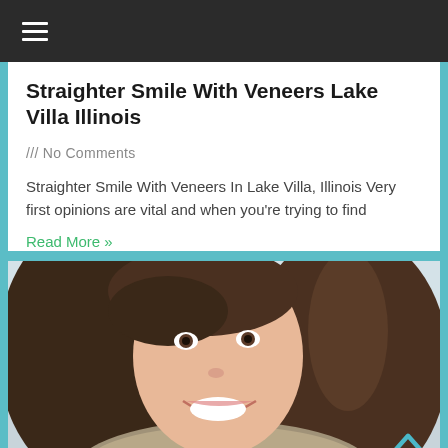Navigation menu
Straighter Smile With Veneers Lake Villa Illinois
/// No Comments
Straighter Smile With Veneers In Lake Villa, Illinois Very first opinions are vital and when you're trying to find
Read More »
[Figure (photo): Portrait photo of a smiling young woman with long brown hair and a knit scarf, showing bright white teeth against a light background]